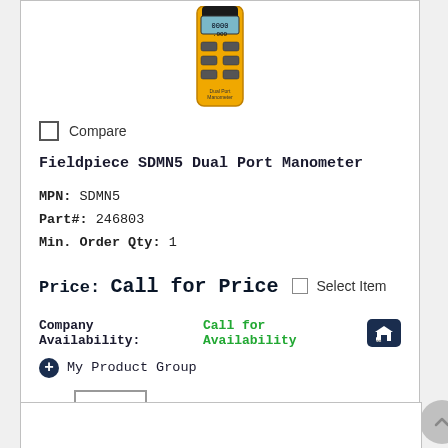[Figure (photo): Yellow Fieldpiece SDMN5 Dual Port Manometer handheld device with digital display and buttons]
Compare
Fieldpiece SDMN5 Dual Port Manometer
MPN: SDMN5
Part#: 246803
Min. Order Qty: 1
Price: Call for Price
Select Item
Company Availability: Call for Availability
My Product Group
Qty 1
ADD TO CART